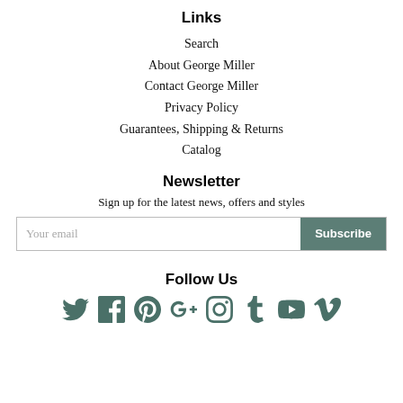Links
Search
About George Miller
Contact George Miller
Privacy Policy
Guarantees, Shipping & Returns
Catalog
Newsletter
Sign up for the latest news, offers and styles
Your email
Subscribe
Follow Us
[Figure (other): Social media icons: Twitter, Facebook, Pinterest, Google+, Instagram, Tumblr, YouTube, Vimeo]